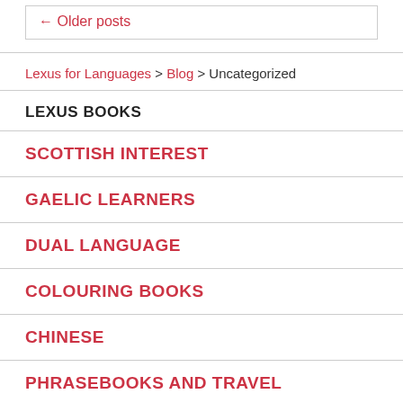← Older posts
Lexus for Languages > Blog > Uncategorized
LEXUS BOOKS
SCOTTISH INTEREST
GAELIC LEARNERS
DUAL LANGUAGE
COLOURING BOOKS
CHINESE
PHRASEBOOKS AND TRAVEL